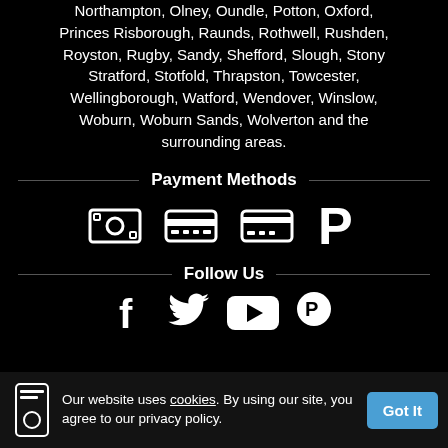Northampton, Olney, Oundle, Potton, Oxford, Princes Risborough, Raunds, Rothwell, Rushden, Royston, Rugby, Sandy, Shefford, Slough, Stony Stratford, Stotfold, Thrapston, Towcester, Wellingborough, Watford, Wendover, Winslow, Woburn, Woburn Sands, Wolverton and the surrounding areas.
Payment Methods
[Figure (infographic): Four white payment method icons on black background: cash/money icon, credit card icon, another credit card icon, and PayPal logo]
Follow Us
[Figure (infographic): Social media icons: Facebook, Twitter, YouTube, Pinterest and others, partially visible]
Our website uses cookies. By using our site, you agree to our privacy policy. Got It